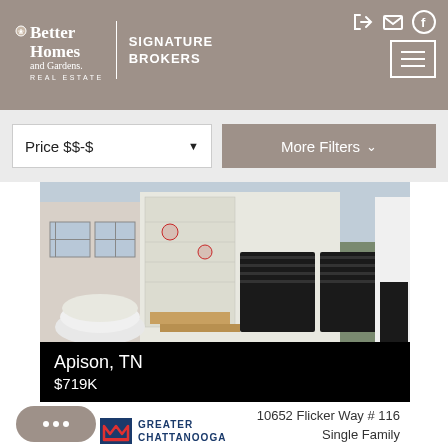Better Homes and Gardens Real Estate | SIGNATURE BROKERS
Price $$-$
More Filters
[Figure (photo): House under construction in Apison, TN — exterior showing framing wrap, two dark garage doors, adjacent white house]
Apison, TN
$719K
10652 Flicker Way # 116
Single Family
[Figure (logo): Greater Chattanooga real estate board logo with red M-shaped icon]
GREATER
CHATTANOOGA